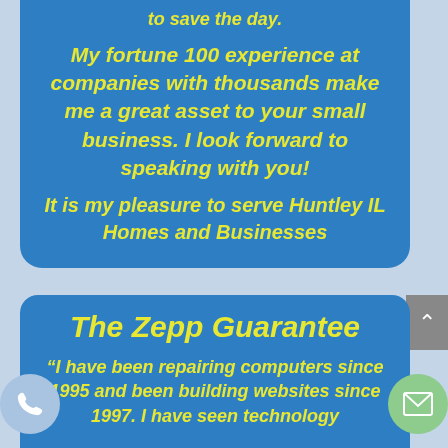to save the day.
My fortune 100 experience at companies with thousands make me a great asset to your small business.  I look forward to speaking with you!
It is my pleasure to serve Huntley IL Homes and Businesses
The Zepp Guarantee
“I have been repairing computers since 1995 and been building websites since 1997. I have seen technology